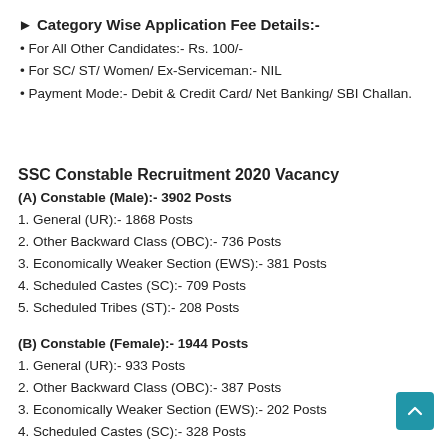▶ Category Wise Application Fee Details:-
• For All Other Candidates:- Rs. 100/-
• For SC/ ST/ Women/ Ex-Serviceman:- NIL
• Payment Mode:- Debit & Credit Card/ Net Banking/ SBI Challan.
SSC Constable Recruitment 2020 Vacancy
(A) Constable (Male):- 3902 Posts
1. General (UR):- 1868 Posts
2. Other Backward Class (OBC):- 736 Posts
3. Economically Weaker Section (EWS):- 381 Posts
4. Scheduled Castes (SC):- 709 Posts
5. Scheduled Tribes (ST):- 208 Posts
(B) Constable (Female):- 1944 Posts
1. General (UR):- 933 Posts
2. Other Backward Class (OBC):- 387 Posts
3. Economically Weaker Section (EWS):- 202 Posts
4. Scheduled Castes (SC):- 328 Posts
5. Scheduled Tribes (ST):- 94 Posts